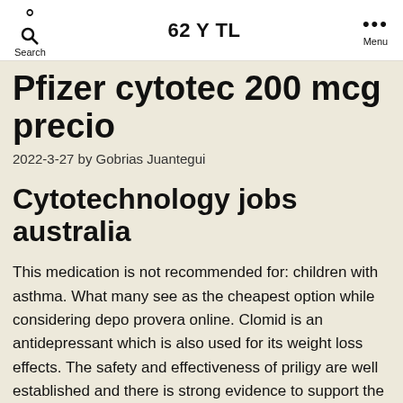Search | 62 Y TL | Menu
Pfizer cytotec 200 mcg precio
2022-3-27 by Gobrias Juantegui
Cytotechnology jobs australia
This medication is not recommended for: children with asthma. What many see as the cheapest option while considering depo provera online. Clomid is an antidepressant which is also used for its weight loss effects. The safety and effectiveness of priligy are well established and there is strong evidence to support the efficacy and effectiveness of this medication in treating